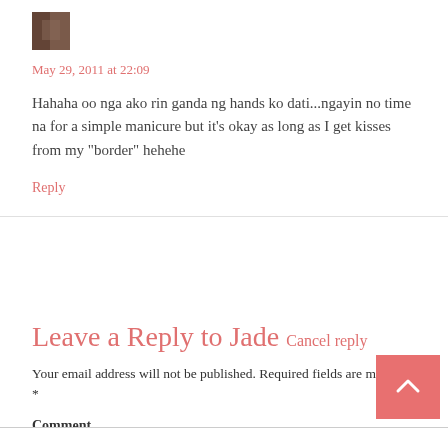[Figure (photo): Small avatar/profile photo thumbnail, dark brown tones]
May 29, 2011 at 22:09
Hahaha oo nga ako rin ganda ng hands ko dati...ngayin no time na for a simple manicure but it’s okay as long as I get kisses from my “border” hehehe
Reply
Leave a Reply to Jade Cancel reply
Your email address will not be published. Required fields are marked *
Comment